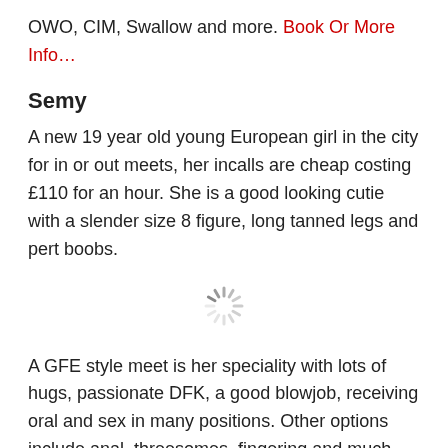OWO, CIM, Swallow and more. Book Or More Info…
Semy
A new 19 year old young European girl in the city for in or out meets, her incalls are cheap costing £110 for an hour. She is a good looking cutie with a slender size 8 figure, long tanned legs and pert boobs.
[Figure (other): Loading spinner / throbber icon]
A GFE style meet is her speciality with lots of hugs, passionate DFK, a good blowjob, receiving oral and sex in many positions. Other options include anal, threesomes, fingering and much more. About Semy…